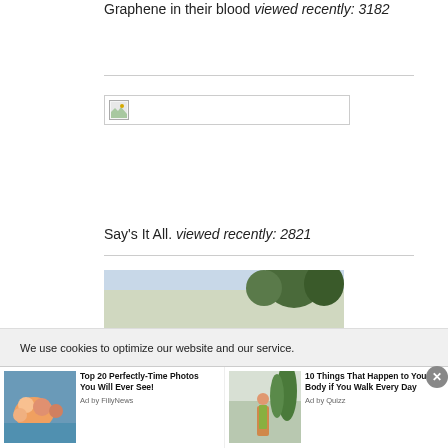Graphene in their blood viewed recently: 3182
[Figure (photo): Broken image placeholder with small icon and empty white area]
Say's It All. viewed recently: 2821
[Figure (photo): Outdoor landscape photo with trees and sky]
We use cookies to optimize our website and our service.
[Figure (photo): Ad: Top 20 Perfectly-Time Photos You Will Ever See! Ad by FillyNews — group of people in water]
[Figure (photo): Ad: 10 Things That Happen to Your Body if You Walk Every Day Ad by Quizz — person running outdoors]